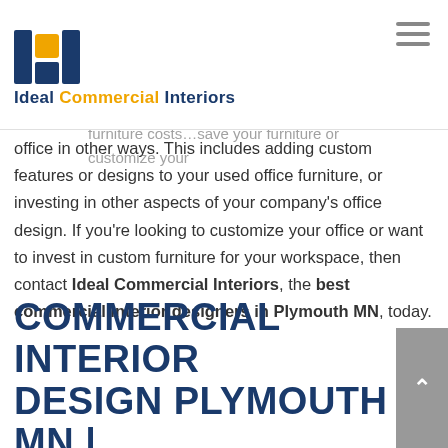[Figure (logo): Ideal Commercial Interiors logo with ICI icon (navy bars and gold square) and text 'Ideal Commercial Interiors' in navy/orange]
Lastly, the used furniture will help you save affordable and effective than buying brand new furniture. You can save your furniture or customize your furniture or customize your office in other ways. This includes adding custom features or designs to your used office furniture, or investing in other aspects of your company's office design. If you're looking to customize your office or want to invest in custom furniture for your workspace, then contact Ideal Commercial Interiors, the best commercial interior designers in Plymouth MN, today.
COMMERCIAL INTERIOR DESIGN PLYMOUTH MN | IDEAL COMMERCIAL